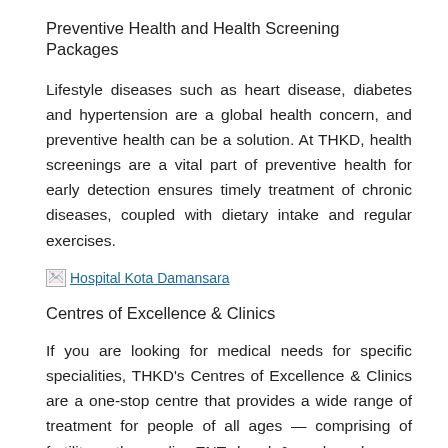Preventive Health and Health Screening Packages
Lifestyle diseases such as heart disease, diabetes and hypertension are a global health concern, and preventive health can be a solution. At THKD, health screenings are a vital part of preventive health for early detection ensures timely treatment of chronic diseases, coupled with dietary intake and regular exercises.
[Figure (photo): Hospital Kota Damansara (broken image placeholder with link text)]
Centres of Excellence & Clinics
If you are looking for medical needs for specific specialities, THKD's Centres of Excellence & Clinics are a one-stop centre that provides a wide range of treatment for people of all ages — comprising of fertility, orthopaedic, ENT, head & neck and more. THKD's professional medical personnel are equipped with